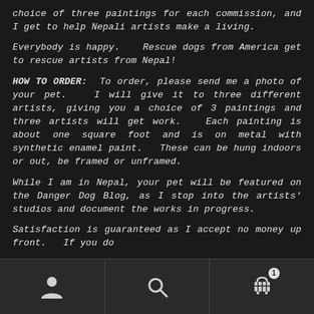choice of three paintings for each commission, and I get to help Nepali artists make a living.
Everybody is happy.   Rescue dogs from America get to rescue artists from Nepal!
HOW TO ORDER:  To order, please send me a photo of your pet.   I will give it to three different artists, giving you a choice of 3 paintings and three artists will get work.   Each painting is about one square foot and is on metal with synthetic enamel paint.   These can be hung indoors or out, be framed or unframed.
While I am in Nepal, your pet will be featured on the Danger Dog Blog, as I stop into the artists' studios and document the works in progress.
Satisfaction is guaranteed as I accept no money up front.   If you do
navigation bar with person icon, search icon, and cart icon with badge 1